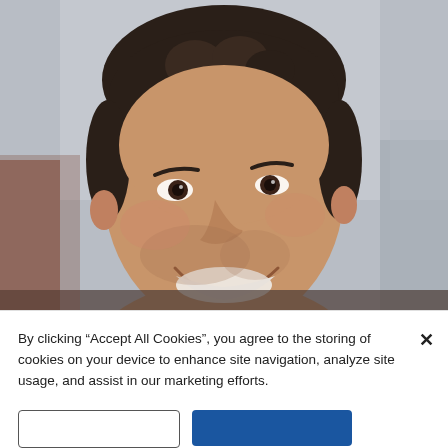[Figure (photo): Close-up photo of a smiling man with dark curly hair and stubble, photographed outdoors with blurred buildings in the background.]
By clicking “Accept All Cookies”, you agree to the storing of cookies on your device to enhance site navigation, analyze site usage, and assist in our marketing efforts.